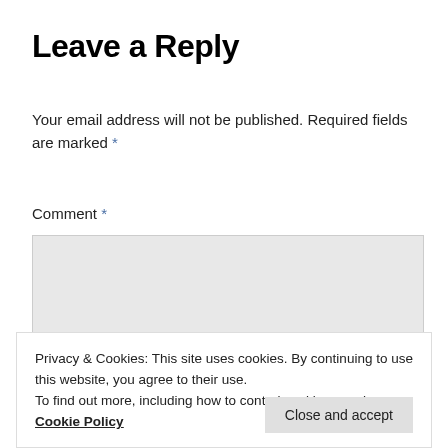Leave a Reply
Your email address will not be published. Required fields are marked *
Comment *
[Figure (other): Comment textarea input box with light gray background]
Privacy & Cookies: This site uses cookies. By continuing to use this website, you agree to their use.
To find out more, including how to control cookies, see here: Cookie Policy
Close and accept
Name *